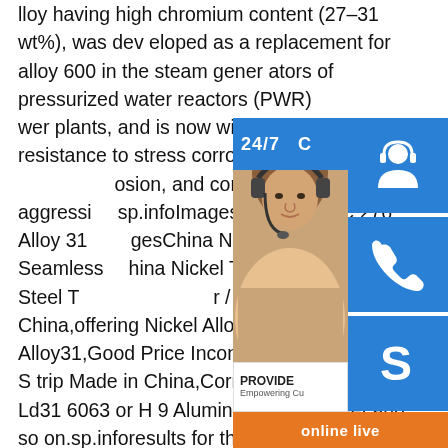lloy having high chromium content (27–31 wt%), was developed as a replacement for alloy 600 in the steam generators of pressurized water reactors (PWR) power plants, and is now widely used owing to its resistance to stress corrosion cracking (SCC), pitting corrosion, and corrosion fatigue in aggressive environments. sp.infoImages of N08031 C 276 Alloy 31 ImagesChina Nickel Alloy N08031 Seamless China Nickel Tube,1.4562,Alloyed Steel Tube manufacturer / supplier in China,offering Nickel Alloy Seamless Pipe Alloy31,Good Price Inconel 926 Coil Alloy Steel Strip Made in China,Corrosion Resistance Ld31 6063 or H9 Aluminium Alloy Sheet and so on.sp.inforesults for this questionWhat is an alloy steel round bar?What is an alloy steel round bar?These EN 31 Alloy Steel Round Bar are
[Figure (infographic): Customer service widget overlay showing: a 24/7 service banner in blue, a photo of a woman with headset, and three blue icon buttons (headset/person icon, phone icon, Skype icon), plus a PROVIDE Empowering Customers text area, and an orange 'online live' button.]